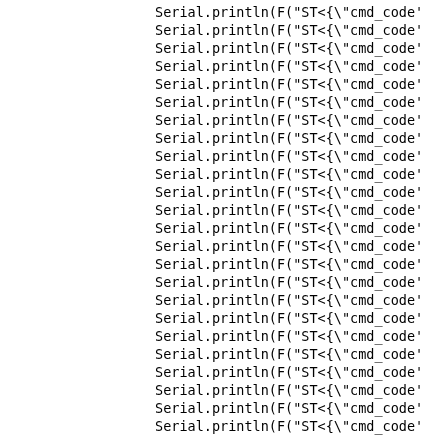Serial.println(F("ST<{\"cmd_code'
Serial.println(F("ST<{\"cmd_code'
Serial.println(F("ST<{\"cmd_code'
Serial.println(F("ST<{\"cmd_code'
Serial.println(F("ST<{\"cmd_code'
Serial.println(F("ST<{\"cmd_code'
Serial.println(F("ST<{\"cmd_code'
Serial.println(F("ST<{\"cmd_code'
Serial.println(F("ST<{\"cmd_code'
Serial.println(F("ST<{\"cmd_code'
Serial.println(F("ST<{\"cmd_code'
Serial.println(F("ST<{\"cmd_code'
Serial.println(F("ST<{\"cmd_code'
Serial.println(F("ST<{\"cmd_code'
Serial.println(F("ST<{\"cmd_code'
Serial.println(F("ST<{\"cmd_code'
Serial.println(F("ST<{\"cmd_code'
Serial.println(F("ST<{\"cmd_code'
Serial.println(F("ST<{\"cmd_code'
Serial.println(F("ST<{\"cmd_code'
Serial.println(F("ST<{\"cmd_code'
Serial.println(F("ST<{\"cmd_code'
Serial.println(F("ST<{\"cmd_code'
Serial.println(F("ST<{\"cmd_code'